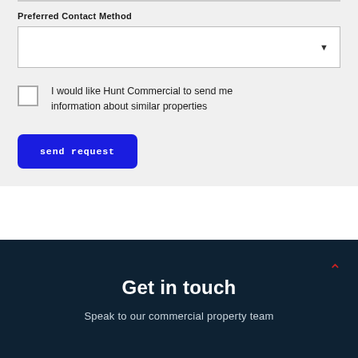Preferred Contact Method
I would like Hunt Commercial to send me information about similar properties
send request
Get in touch
Speak to our commercial property team